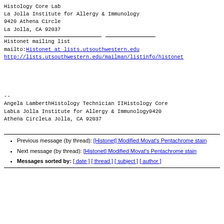Histology Core Lab
La Jolla Institute for Allergy & Immunology
9420 Athena Circle
La Jolla, CA 92037
Histonet mailing list
mailto:Histonet at lists.utsouthwestern.edu
http://lists.utsouthwestern.edu/mailman/listinfo/histonet
--
Angela LamberthHistology Technician IIHistology Core LabLa Jolla Institute for Allergy & Immunology9420 Athena CircleLa Jolla, CA 92037
Previous message (by thread): [Histonet] Modified Movat's Pentachrome stain
Next message (by thread): [Histonet] Modified Movat's Pentachrome stain
Messages sorted by: [ date ] [ thread ] [ subject ] [ author ]